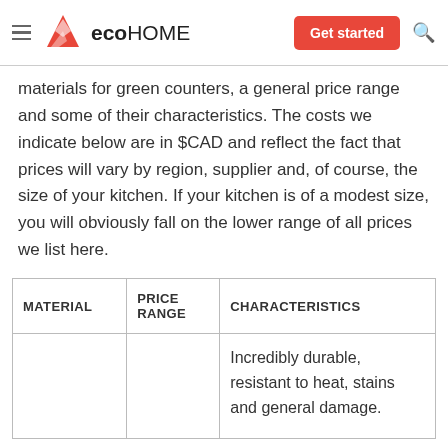ecoHOME | Get started
materials for green counters, a general price range and some of their characteristics. The costs we indicate below are in $CAD and reflect the fact that prices will vary by region, supplier and, of course, the size of your kitchen. If your kitchen is of a modest size, you will obviously fall on the lower range of all prices we list here.
| MATERIAL | PRICE RANGE | CHARACTERISTICS |
| --- | --- | --- |
|  |  | Incredibly durable, resistant to heat, stains and general damage. |